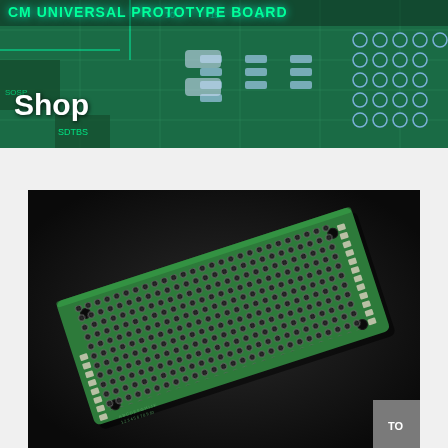CM UNIVERSAL PROTOTYPE BOARD
Shop
[Figure (photo): Green universal prototype PCB board (perfboard) with a grid of through-holes and solder pads, photographed at an angle on a dark background. The board is a standard rectangular green FR4 perfboard with white silkscreen markings along the edges.]
[Figure (photo): Close-up background image of green PCB circuit board with various SMD components, traces, and through-holes, used as the header banner background.]